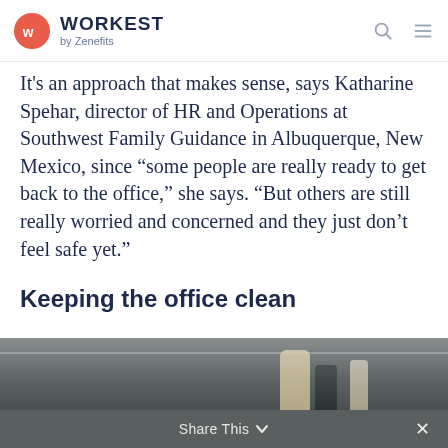WORKEST by Zenefits
It's an approach that makes sense, says Katharine Spehar, director of HR and Operations at Southwest Family Guidance in Albuquerque, New Mexico, since “some people are really ready to get back to the office,” she says. “But others are still really worried and concerned and they just don’t feel safe yet.”
Keeping the office clean
[Figure (photo): Partial photo of cleaning supplies on a surface, with a light background wall visible.]
Share This ∨ ×